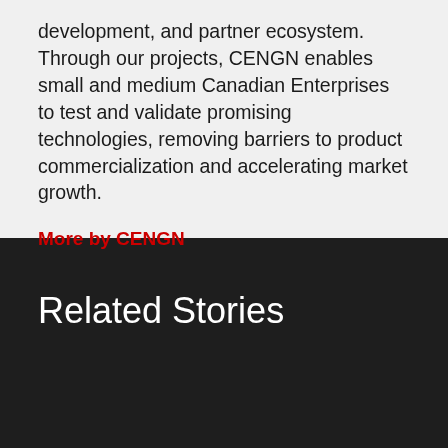development, and partner ecosystem. Through our projects, CENGN enables small and medium Canadian Enterprises to test and validate promising technologies, removing barriers to product commercialization and accelerating market growth.
More by CENGN
Related Stories